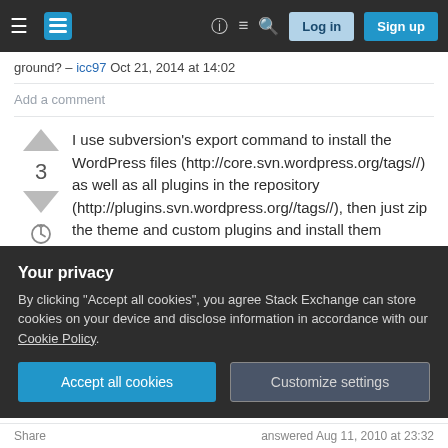Stack Exchange navigation bar with Log in and Sign up buttons
ground? – icc97 Oct 21, 2014 at 14:02
Add a comment
I use subversion's export command to install the WordPress files (http://core.svn.wordpress.org/tags//) as well as all plugins in the repository (http://plugins.svn.wordpress.org//tags//), then just zip the theme and custom plugins and install them normally. Once all of that is up and running without
Your privacy
By clicking "Accept all cookies", you agree Stack Exchange can store cookies on your device and disclose information in accordance with our Cookie Policy.
Accept all cookies
Customize settings
Share   answered Aug 11, 2010 at 23:32